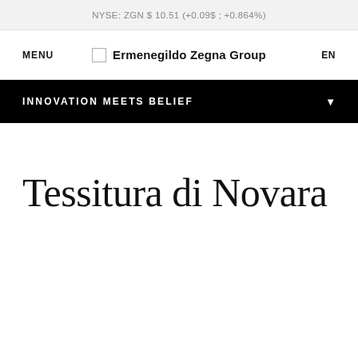NYSE: ZGN $ 10.51 (+0.09$ ; +0.864%)
MENU
Ermenegildo Zegna Group
EN
INNOVATION MEETS BELIEF
Tessitura di Novara